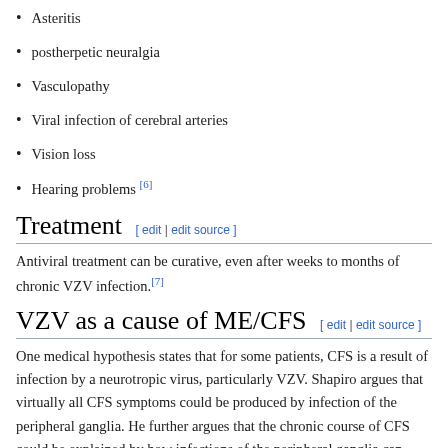Asteritis
postherpetic neuralgia
Vasculopathy
Viral infection of cerebral arteries
Vision loss
Hearing problems [6]
Treatment
Antiviral treatment can be curative, even after weeks to months of chronic VZV infection.[7]
VZV as a cause of ME/CFS
One medical hypothesis states that for some patients, CFS is a result of infection by a neurotropic virus, particularly VZV. Shapiro argues that virtually all CFS symptoms could be produced by infection of the peripheral ganglia. He further argues that the chronic course of CFS could be explained by how infections of the peripheral ganglia can cause long-term nerve dysfunction.[8]